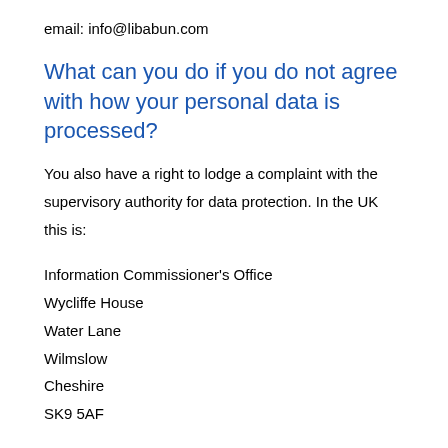email: info@libabun.com
What can you do if you do not agree with how your personal data is processed?
You also have a right to lodge a complaint with the supervisory authority for data protection. In the UK this is:
Information Commissioner's Office
Wycliffe House
Water Lane
Wilmslow
Cheshire
SK9 5AF